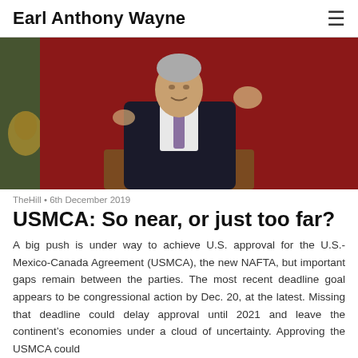Earl Anthony Wayne
[Figure (photo): Man in dark suit at a podium with microphones, speaking with hands raised, Mexican flag visible in background]
TheHill • 6th December 2019
USMCA: So near, or just too far?
A big push is under way to achieve U.S. approval for the U.S.-Mexico-Canada Agreement (USMCA), the new NAFTA, but important gaps remain between the parties. The most recent deadline goal appears to be congressional action by Dec. 20, at the latest. Missing that deadline could delay approval until 2021 and leave the continent's economies under a cloud of uncertainty. Approving the USMCA could